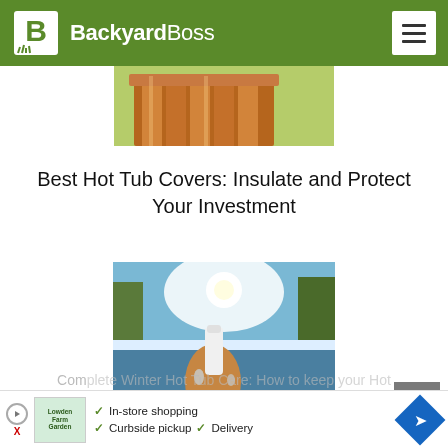BackyardBoss
[Figure (photo): Partial view of a wooden planter box with green background, cropped at top of page]
Best Hot Tub Covers: Insulate and Protect Your Investment
[Figure (photo): A hand holding a white object near a hot tub covered in snow, bright sun in background with blue sky]
Complete Winter Hot Tub Care: How to keep your Hot...
[Figure (photo): Advertisement banner with garden store logo, checkmarks for In-store shopping, Curbside pickup, Delivery, and navigation arrow icon]